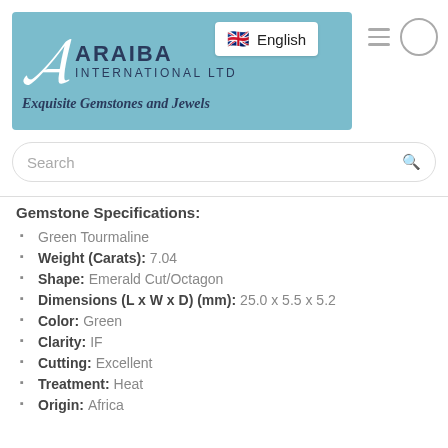[Figure (logo): Araiba International Ltd logo on teal/light blue background with script A and tagline Exquisite Gemstones and Jewels]
English
Gemstone Specifications:
Green Tourmaline
Weight (Carats): 7.04
Shape: Emerald Cut/Octagon
Dimensions (L x W x D) (mm): 25.0 x 5.5 x 5.2
Color: Green
Clarity: IF
Cutting: Excellent
Treatment: Heat
Origin: Africa